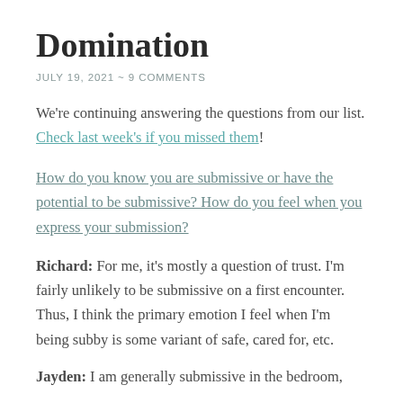Domination
JULY 19, 2021  ~  9 COMMENTS
We're continuing answering the questions from our list. Check last week's if you missed them!
How do you know you are submissive or have the potential to be submissive? How do you feel when you express your submission?
Richard: For me, it's mostly a question of trust. I'm fairly unlikely to be submissive on a first encounter. Thus, I think the primary emotion I feel when I'm being subby is some variant of safe, cared for, etc.
Jayden: I am generally submissive in the bedroom,